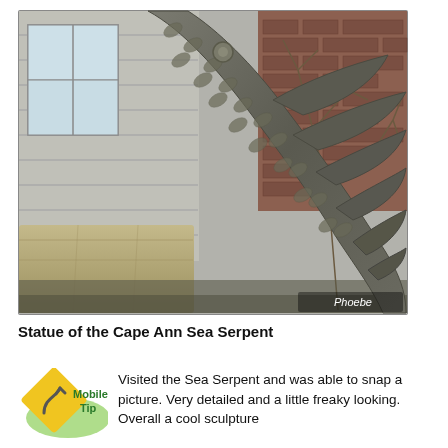[Figure (photo): Close-up photo of a large sea serpent sculpture with detailed scales and fin-like ridges, photographed against the side of a house with grey siding and brick, with bare tree branches visible. A large stone block sits at the base. Photo credit: Phoebe.]
Statue of the Cape Ann Sea Serpent
[Figure (logo): Mobile Tip icon: yellow diamond-shaped road sign with a curve arrow, labeled 'Mobile Tip' in green text on white background.]
Visited the Sea Serpent and was able to snap a picture. Very detailed and a little freaky looking. Overall a cool sculpture